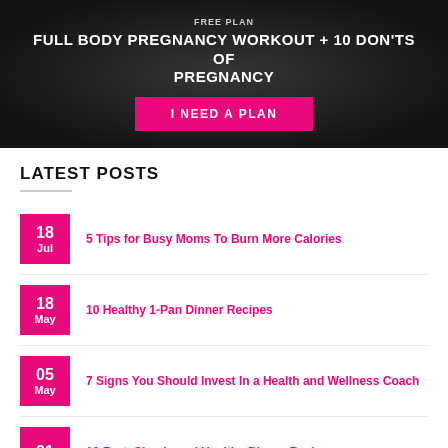FREE PLAN
FULL BODY PREGNANCY WORKOUT + 10 DON'TS OF PREGNANCY
I NEED A PLAN
LATEST POSTS
18 Jul — 5 Tips for Busy Moms To Burn More Calories
18 May — 10 Healthy 1-Pan Dinner Recipes
05 May — 7 Signs You Should Invest In a Health and Wellness Coach
21 — 10 Fast, Simple and Healthy Dinner Recipes